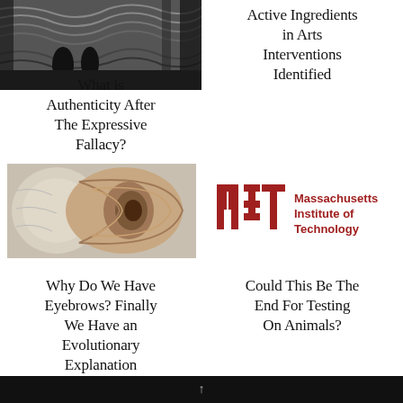[Figure (photo): Cropped black and white image of Edvard Munch's The Scream, showing two dark silhouetted figures in the background]
Active Ingredients in Arts Interventions Identified
What is Authenticity After The Expressive Fallacy?
[Figure (photo): Close-up anatomical illustration of a human ear, showing ear canal and surrounding bone structure]
[Figure (logo): MIT (Massachusetts Institute of Technology) logo with red block letters and text]
Why Do We Have Eyebrows? Finally We Have an Evolutionary Explanation
Could This Be The End For Testing On Animals?
↑